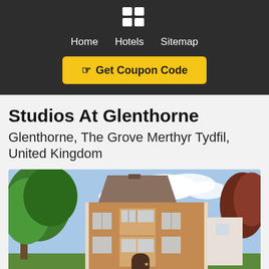[Figure (logo): Grid/app icon logo with 4 squares in white on dark background]
Home   Hotels   Sitemap
Get Coupon Code
Studios At Glenthorne
Glenthorne, The Grove Merthyr Tydfil, United Kingdom
[Figure (photo): Exterior photo of a red-brick Victorian-style building with bay windows, surrounded by green trees under a partly cloudy sky]